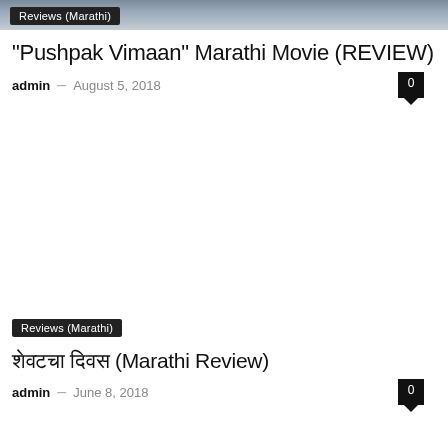Reviews (Marathi)
“Pushpak Vimaan” Marathi Movie (REVIEW)
admin – August 5, 2018
Reviews (Marathi)
शेवटचा दिवस (Marathi Review)
admin – June 8, 2018